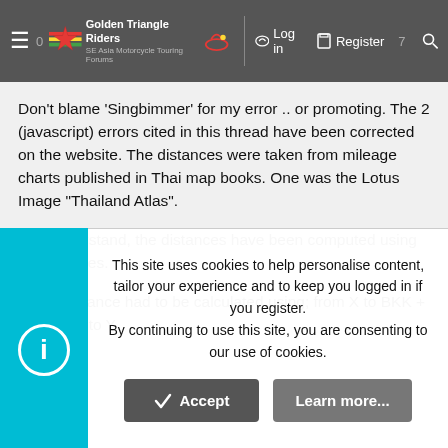Golden Triangle Riders | SE Asia Motorcycle Touring Forums | Log in | Register
Don't blame 'Singbimmer' for my error .. or promoting. The 2 (javascript) errors cited in this thread have been corrected on the website. The distances were taken from mileage charts published in Thai map books. One was the Lotus Image "Thailand Atlas".
As I understand, the distances have been computed using major routes.
Some distance had to be calculated using; from X to BKK + from BKK to Y.
This site uses cookies to help personalise content, tailor your experience and to keep you logged in if you register.
By continuing to use this site, you are consenting to our use of cookies.